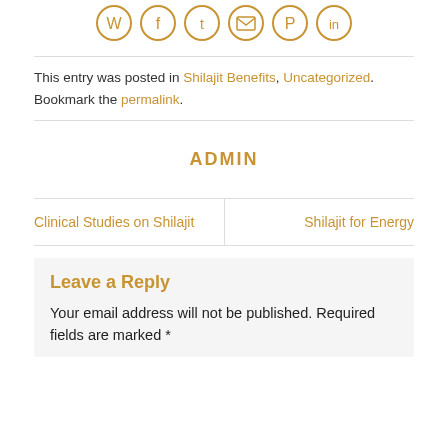[Figure (other): Row of social media share icons (WhatsApp, Facebook, Twitter, Email, Pinterest, LinkedIn) rendered as gold/orange outlined circles]
This entry was posted in Shilajit Benefits, Uncategorized. Bookmark the permalink.
ADMIN
Clinical Studies on Shilajit
Shilajit for Energy
Leave a Reply
Your email address will not be published. Required fields are marked *